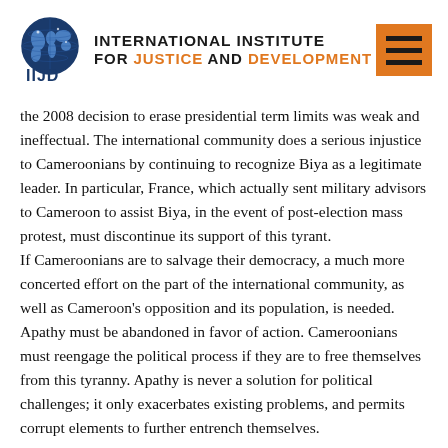[Figure (logo): IIJD globe logo with blue world map graphic, text 'INTERNATIONAL INSTITUTE FOR JUSTICE AND DEVELOPMENT' and acronym 'IIJD', orange hamburger menu icon top right]
the 2008 decision to erase presidential term limits was weak and ineffectual. The international community does a serious injustice to Cameroonians by continuing to recognize Biya as a legitimate leader. In particular, France, which actually sent military advisors to Cameroon to assist Biya, in the event of post-election mass protest, must discontinue its support of this tyrant.
If Cameroonians are to salvage their democracy, a much more concerted effort on the part of the international community, as well as Cameroon's opposition and its population, is needed. Apathy must be abandoned in favor of action. Cameroonians must reengage the political process if they are to free themselves from this tyranny. Apathy is never a solution for political challenges; it only exacerbates existing problems, and permits corrupt elements to further entrench themselves.